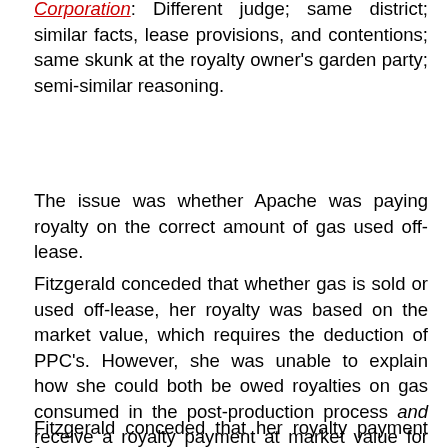Corporation: Different judge; same district; similar facts, lease provisions, and contentions; same skunk at the royalty owner's garden party; semi-similar reasoning.
The issue was whether Apache was paying royalty on the correct amount of gas used off-lease.
Fitzgerald conceded that whether gas is sold or used off-lease, her royalty was based on the market value, which requires the deduction of PPC's. However, she was unable to explain how she could both be owed royalties on gas consumed in the post-production process and receive a royalty payment at market value for gas that is sold.
Fitzgerald conceded that her royalty payment for